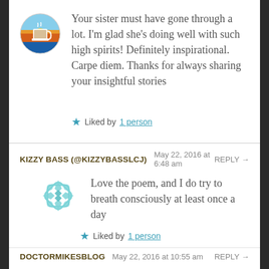[Figure (photo): Circular avatar icon showing a coffee cup with sunrise/sunset background in orange and blue tones]
Your sister must have gone through a lot. I'm glad she's doing well with such high spirits! Definitely inspirational. Carpe diem. Thanks for always sharing your insightful stories
★ Liked by 1 person
KIZZY BASS (@KIZZYBASSLCJ)  May 22, 2016 at 6:48 am  REPLY →
[Figure (logo): Teal/light blue decorative flower-like geometric avatar icon]
Love the poem, and I do try to breath consciously at least once a day
★ Liked by 1 person
DOCTORMIKESBLOG  May 22, 2016 at 10:55 am  REPLY →